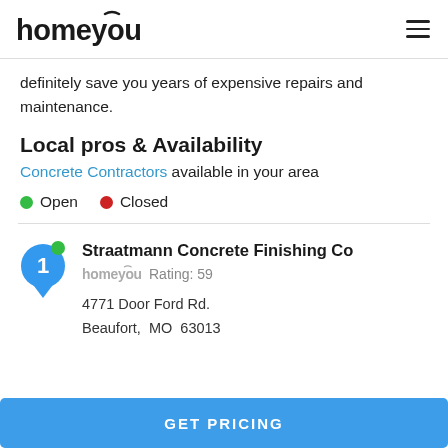homeyou
definitely save you years of expensive repairs and maintenance.
Local pros & Availability
Concrete Contractors available in your area
Open   Closed
Straatmann Concrete Finishing Co
homeyou Rating: 59
4771 Door Ford Rd.
Beaufort, MO 63013
GET PRICING